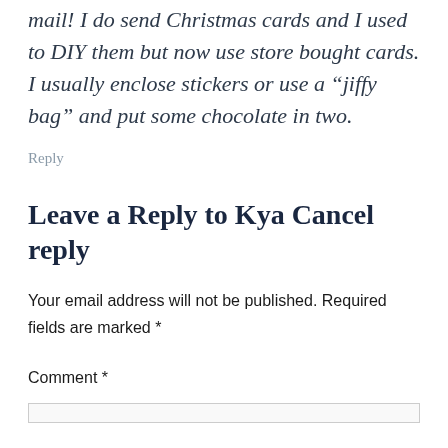mail! I do send Christmas cards and I used to DIY them but now use store bought cards. I usually enclose stickers or use a “jiffy bag” and put some chocolate in two.
Reply
Leave a Reply to Kya Cancel reply
Your email address will not be published. Required fields are marked *
Comment *